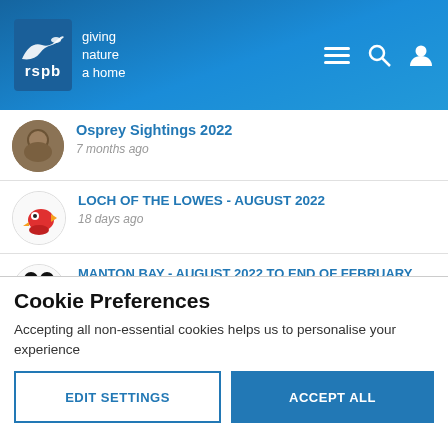[Figure (logo): RSPB logo with bird silhouette and text 'giving nature a home']
Osprey Sightings 2022
7 months ago
LOCH OF THE LOWES - AUGUST 2022
18 days ago
MANTON BAY - AUGUST 2022 to end of FEBRUARY 2023
18 days ago
LLYN BRENIG August 2022
Cookie Preferences
Accepting all non-essential cookies helps us to personalise your experience
EDIT SETTINGS | ACCEPT ALL